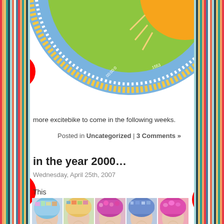[Figure (photo): Colorful circular fabric with excitebike motif in green, blue and orange]
more excitebike to come in the following weeks.
Posted in Uncategorized | 3 Comments »
in the year 2000…
Wednesday, April 25th, 2007
This
[Figure (photo): Grid of mannequin heads wearing colorful patterned scrub caps/hats]